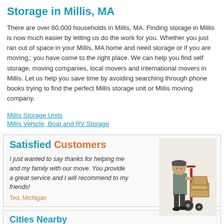Storage in Millis, MA
There are over 60,000 households in Millis, MA. Finding storage in Millis is now much easier by letting us do the work for you. Whether you just ran out of space in your Millis, MA home and need storage or if you are moving,; you have come to the right place. We can help you find self storage, moving companies, local movers and international movers in Millis. Let us help you save time by avoiding searching through phone books trying to find the perfect Millis storage unit or Millis moving company.
Millis Storage Units
Millis Vehicle, Boat and RV Storage
Satisfied Customers
I just wanted to say thanks for helping me and my family with our move. You provide a great service and I will recommend to my friends!
Ted, Michigan
[Figure (photo): Illustration of a mover/delivery person in uniform leaning on a hand truck with boxes]
Cities Nearby
Ashland, MA Self Storage
Fayville, MA Self Storage